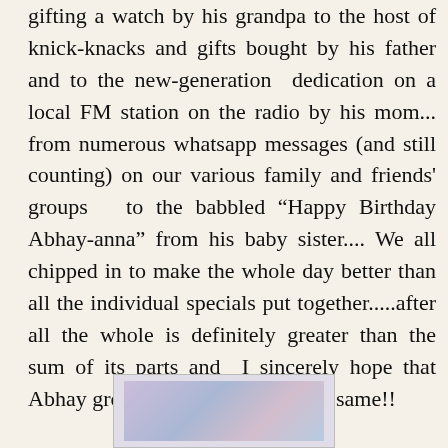gifting a watch by his grandpa to the host of knick-knacks and gifts bought by his father and to the new-generation  dedication on a local FM station on the radio by his mom... from numerous whatsapp messages (and still counting) on our various family and friends' groups  to the babbled “Happy Birthday Abhay-anna” from his baby sister.... We all chipped in to make the whole day better than all the individual specials put together.....after all the whole is definitely greater than the sum of its parts and I sincerely hope that Abhay grows up to understand the same!!
[Figure (photo): A partially visible photograph at the bottom of the page showing blurred colorful image content]